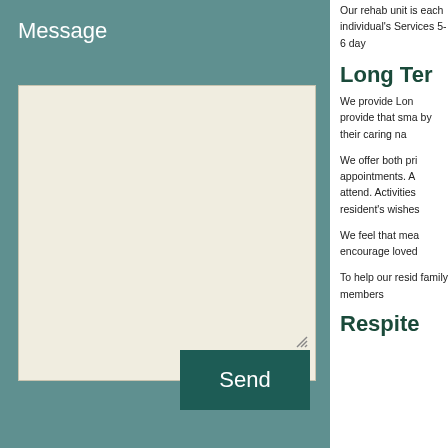Message
Our rehab unit is each individual's Services 5-6 day
Long Te
We provide Lon provide that sma by their caring na
We offer both pri appointments. A attend. Activities resident's wishes
We feel that mea encourage loved
To help our resid family members
Respite